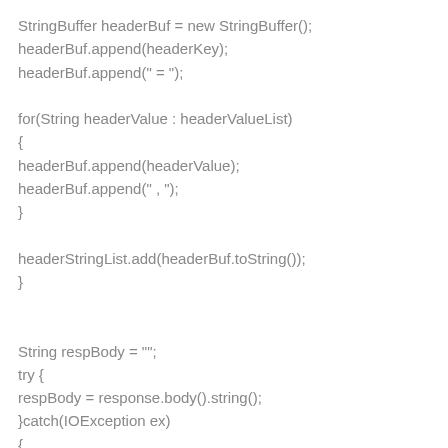StringBuffer headerBuf = new StringBuffer();
headerBuf.append(headerKey);
headerBuf.append(" = ");

for(String headerValue : headerValueList)
{
headerBuf.append(headerValue);
headerBuf.append(" , ");
}

headerStringList.add(headerBuf.toString());
}


String respBody = "";
try {
respBody = response.body().string();
}catch(IOException ex)
{
Log.e(TAG_OK_HTTP_ACTIVITY, ex.getMessage(), ex);
}